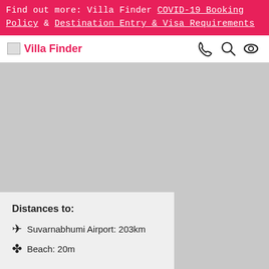Find out more: Villa Finder COVID-19 Booking Policy & Destination Entry & Visa Requirements
Villa Finder
[Figure (screenshot): Gray placeholder image area representing a villa or property photo]
Distances to:
Suvarnabhumi Airport: 203km
Beach: 20m